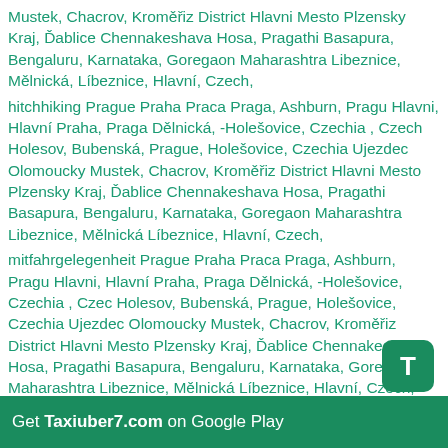Mustek, Chacrov, Kroměřiz District Hlavni Mesto Plzensky Kraj, Ďablice Chennakeshava Hosa, Pragathi Basapura, Bengaluru, Karnataka, Goregaon Maharashtra Libeznice, Mělnická, Líbeznice, Hlavní, Czech, hitchhiking Prague Praha Praca Praga, Ashburn, Pragu Hlavni, Hlavní Praha, Praga Dělnická, -Holešovice, Czechia , Czech Holesov, Bubenská, Prague, Holešovice, Czechia Ujezdec Olomoucky Mustek, Chacrov, Kroměřiz District Hlavni Mesto Plzensky Kraj, Ďablice Chennakeshava Hosa, Pragathi Basapura, Bengaluru, Karnataka, Goregaon Maharashtra Libeznice, Mělnická Líbeznice, Hlavní, Czech, mitfahrgelegenheit Prague Praha Praca Praga, Ashburn, Pragu Hlavni, Hlavní Praha, Praga Dělnická, -Holešovice, Czechia , Czec Holesov, Bubenská, Prague, Holešovice, Czechia Ujezdec Olomoucky Mustek, Chacrov, Kroměřiz District Hlavni Mesto Plzensky Kraj, Ďablice Chennakeshava Hosa, Pragathi Basapura, Bengaluru, Karnataka, Goregaon Maharashtra Libeznice, Mělnická Líbeznice, Hlavní, Czech, бла бла такси Prague Praha Praca Praga, Ashburn, Pragu Hlavni, Hlavní Praha, Praga Dělnická, -Holešovice, Czechia , Czech Holesov, Bubenská, Prague, Holešovice, Czechia Ujezdec Olomoucky Mustek, Chacrov, Kroměřiz District Hlavni Mesto Plzensky Kraj, Ďablice Chennakeshava Hosa, Pragathi Basapura, Bengaluru, Karnataka, Goregaon Maharashtra Libeznice, Mělnická Líbeznice, Hlavní, Czech, plaplacar Prague Praha Praca Praga,
[Figure (other): Green T badge icon for Taxiuber7.com app]
Get Taxiuber7.com on Google Play